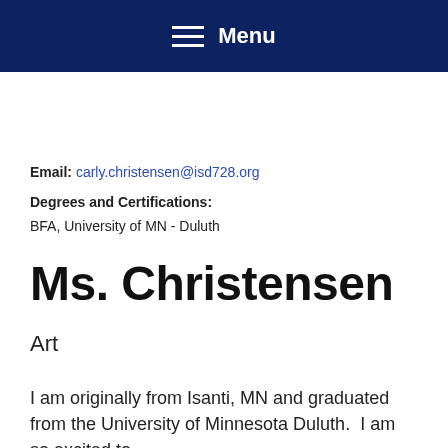Menu
Email: carly.christensen@isd728.org
Degrees and Certifications:
BFA, University of MN - Duluth
Ms. Christensen
Art
I am originally from Isanti, MN and graduated from the University of Minnesota Duluth.  I am so excited to